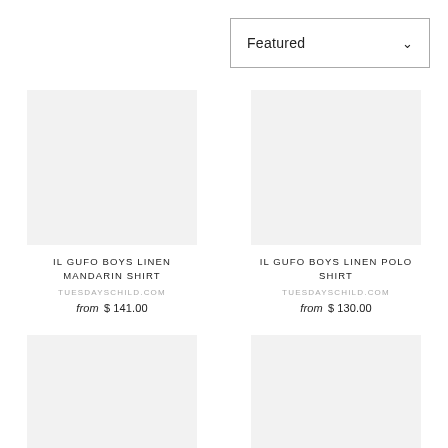Featured
[Figure (photo): Product image placeholder for IL GUFO Boys Linen Mandarin Shirt]
IL GUFO BOYS LINEN MANDARIN SHIRT
TUESDAYSCHILD.COM
from $ 141.00
[Figure (photo): Product image placeholder for IL GUFO Boys Linen Polo Shirt]
IL GUFO BOYS LINEN POLO SHIRT
TUESDAYSCHILD.COM
from $ 130.00
[Figure (photo): Product image placeholder for IL GUFO Boys Sensitive Fabric Shirt]
IL GUFO BOYS SENSITIVE FABRIC SHIRT
TUESDAYSCHILD.COM
[Figure (photo): Product image placeholder for Armani Junior Long Sleeve Pique Polo]
ARMANI JUNIOR LONG SLEEVE PIQUE POLO
ARMANI JUNIOR